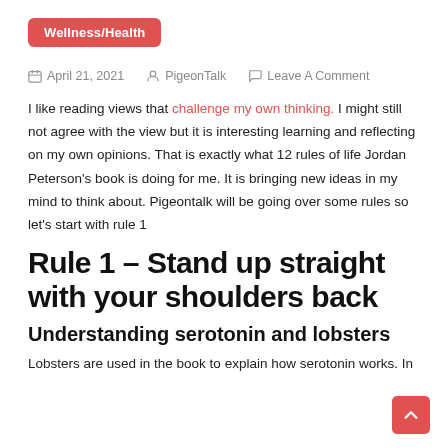Wellness/Health
April 21, 2021   PigeonTalk   Leave A Comment
I like reading views that challenge my own thinking. I might still not agree with the view but it is interesting learning and reflecting on my own opinions. That is exactly what 12 rules of life Jordan Peterson's book is doing for me. It is bringing new ideas in my mind to think about. Pigeontalk will be going over some rules so let's start with rule 1
Rule 1 – Stand up straight with your shoulders back
Understanding serotonin and lobsters
Lobsters are used in the book to explain how serotonin works. In